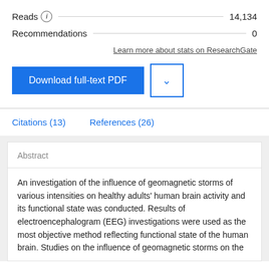Reads  14,134
Recommendations  0
Learn more about stats on ResearchGate
Download full-text PDF
Citations (13)   References (26)
Abstract
An investigation of the influence of geomagnetic storms of various intensities on healthy adults' human brain activity and its functional state was conducted. Results of electroencephalogram (EEG) investigations were used as the most objective method reflecting functional state of the human brain. Studies on the influence of geomagnetic storms on the